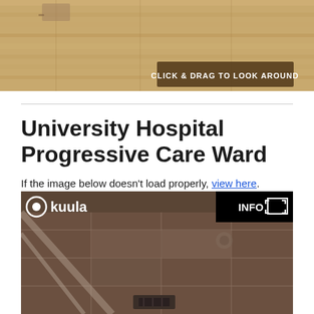[Figure (photo): 360 panoramic photo of a hospital room/ward floor showing wood flooring, with a semi-transparent brown overlay banner reading 'CLICK & DRAG TO LOOK AROUND']
University Hospital Progressive Care Ward
If the image below doesn't load properly, view here.
[Figure (photo): Kuula 360 viewer screenshot showing a hospital ceiling with drop tiles and ceiling fixtures. Top-left shows Kuula logo with circle icon, top-right shows INFO button and fullscreen icon on black background.]